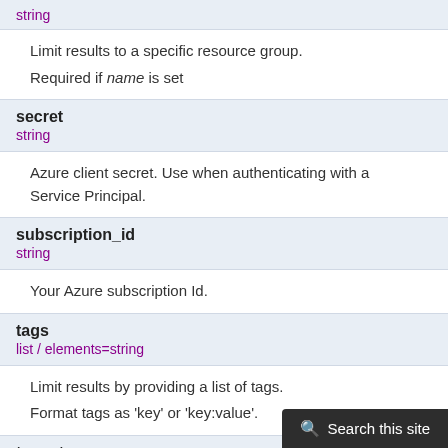string
Limit results to a specific resource group.
Required if name is set
secret
string
Azure client secret. Use when authenticating with a Service Principal.
subscription_id
string
Your Azure subscription Id.
tags
list / elements=string
Limit results by providing a list of tags.
Format tags as 'key' or 'key:value'.
tenant
string